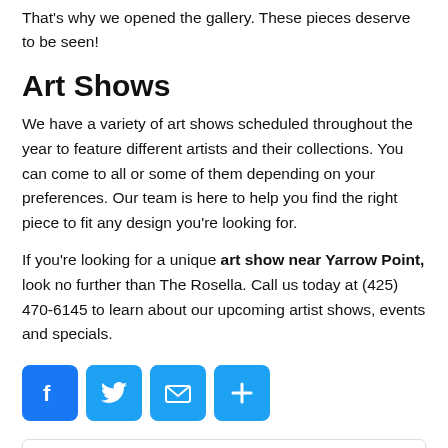That's why we opened the gallery. These pieces deserve to be seen!
Art Shows
We have a variety of art shows scheduled throughout the year to feature different artists and their collections. You can come to all or some of them depending on your preferences. Our team is here to help you find the right piece to fit any design you're looking for.
If you're looking for a unique art show near Yarrow Point, look no further than The Rosella. Call us today at (425) 470-6145 to learn about our upcoming artist shows, events and specials.
[Figure (other): Social sharing icons: Facebook, Twitter, Email, and a plus/share button]
THE ROSELLA